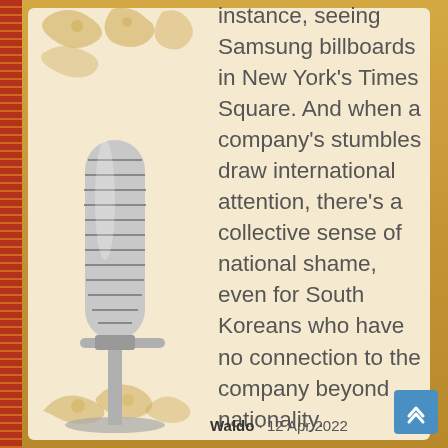instance, seeing Samsung billboards in New York's Times Square. And when a company's stumbles draw international attention, there's a collective sense of national shame, even for South Koreans who have no connection to the company beyond nationality.
Waldo · 12 Apr 2022